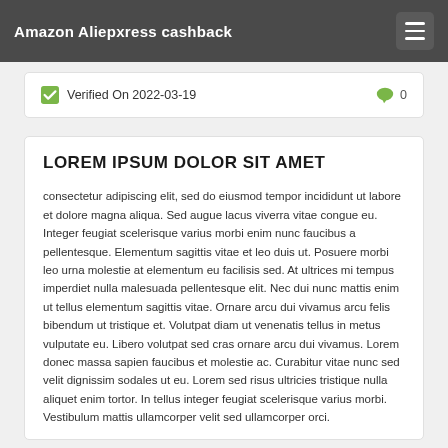Amazon Aliepxress cashback
✓ Verified On 2022-03-19   💬 0
LOREM IPSUM DOLOR SIT AMET
consectetur adipiscing elit, sed do eiusmod tempor incididunt ut labore et dolore magna aliqua. Sed augue lacus viverra vitae congue eu. Integer feugiat scelerisque varius morbi enim nunc faucibus a pellentesque. Elementum sagittis vitae et leo duis ut. Posuere morbi leo urna molestie at elementum eu facilisis sed. At ultrices mi tempus imperdiet nulla malesuada pellentesque elit. Nec dui nunc mattis enim ut tellus elementum sagittis vitae. Ornare arcu dui vivamus arcu felis bibendum ut tristique et. Volutpat diam ut venenatis tellus in metus vulputate eu. Libero volutpat sed cras ornare arcu dui vivamus. Lorem donec massa sapien faucibus et molestie ac. Curabitur vitae nunc sed velit dignissim sodales ut eu. Lorem sed risus ultricies tristique nulla aliquet enim tortor. In tellus integer feugiat scelerisque varius morbi. Vestibulum mattis ullamcorper velit sed ullamcorper orci.